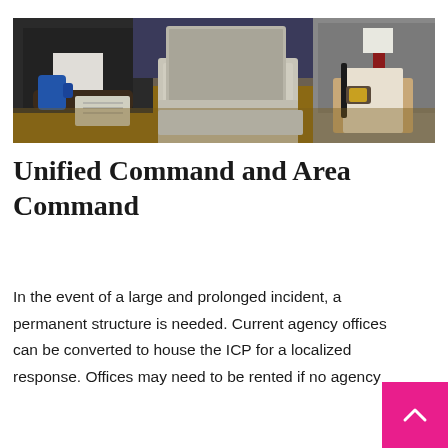[Figure (photo): Business meeting scene: three people in dark suits sitting at a wooden table with a laptop open in the center, a blue coffee mug on the left, notebooks and papers on the table, and a person on the right holding a pen and documents.]
Unified Command and Area Command
In the event of a large and prolonged incident, a permanent structure is needed. Current agency offices can be converted to house the ICP for a localized response. Offices may need to be rented if no agency